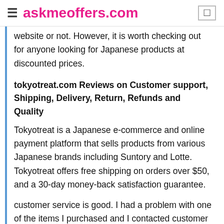askmeoffers.com
website or not. However, it is worth checking out for anyone looking for Japanese products at discounted prices.
tokyotreat.com Reviews on Customer support, Shipping, Delivery, Return, Refunds and Quality
Tokyotreat is a Japanese e-commerce and online payment platform that sells products from various Japanese brands including Suntory and Lotte. Tokyotreat offers free shipping on orders over $50, and a 30-day money-back satisfaction guarantee.
customer service is good. I had a problem with one of the items I purchased and I contacted customer service by email and then by phone. They responded quickly to both my emails and my phone call. The representative was able to help me resolve my issue.